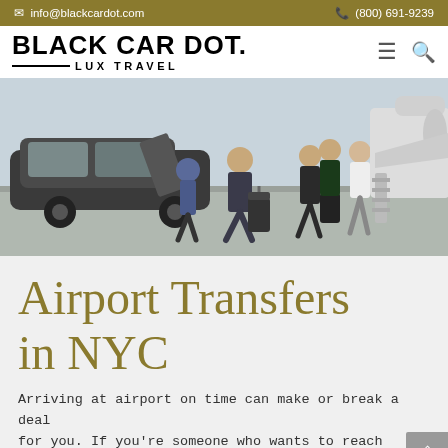info@blackcardot.com | (800) 691-9239
BLACK CAR DOT. LUX TRAVEL
[Figure (photo): People in business attire walking from a luxury black car toward a private jet on a tarmac, pulling luggage]
Airport Transfers in NYC
Arriving at airport on time can make or break a deal for you. If you're someone who wants to reach airport